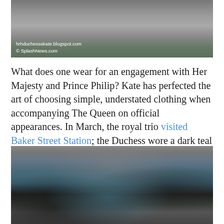[Figure (photo): Partial photo showing feet/shoes on pavement with watermark text 'hrhduchesskateblogspot.com © SplashNews.com']
What does one wear for an engagement with Her Majesty and Prince Philip? Kate has perfected the art of choosing simple, understated clothing when accompanying The Queen on official appearances. In March, the royal trio visited Baker Street Station; the Duchess wore a dark teal coat by Danish designer Malene Birger.
[Figure (photo): Photo of Kate Middleton smiling, wearing a dark teal coat and black hat, with photographers and cameras visible in the background at Baker Street Station visit.]